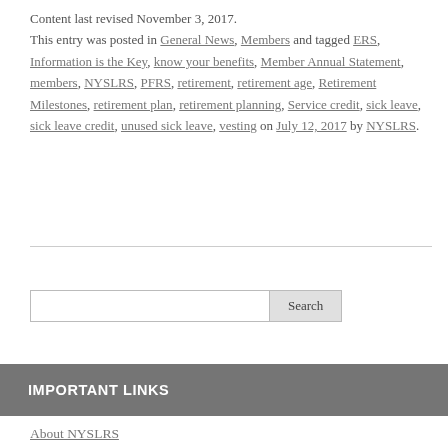Content last revised November 3, 2017. This entry was posted in General News, Members and tagged ERS, Information is the Key, know your benefits, Member Annual Statement, members, NYSLRS, PFRS, retirement, retirement age, Retirement Milestones, retirement plan, retirement planning, Service credit, sick leave, sick leave credit, unused sick leave, vesting on July 12, 2017 by NYSLRS.
Search
IMPORTANT LINKS
About NYSLRS